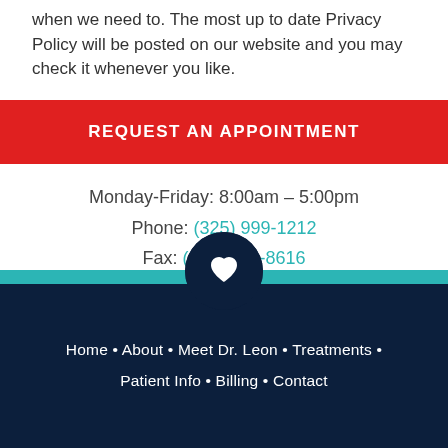when we need to. The most up to date Privacy Policy will be posted on our website and you may check it whenever you like.
REQUEST AN APPOINTMENT
Monday-Friday: 8:00am – 5:00pm
Phone: (325) 999-1212
Fax: (325) 944-8616
[Figure (illustration): Dark navy circle with white heart icon, positioned at junction of white section and dark footer]
Home • About • Meet Dr. Leon • Treatments • Patient Info • Billing • Contact